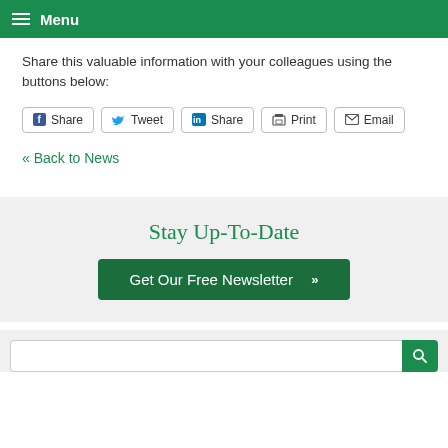Menu
Share this valuable information with your colleagues using the buttons below:
Share  Tweet  Share  Print  Email
« Back to News
Stay Up-To-Date
Get Our Free Newsletter »
[Figure (other): Search bar with green search button]